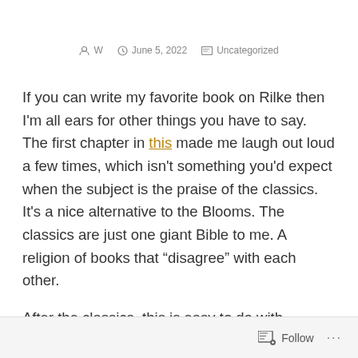W   June 5, 2022   Uncategorized
If you can write my favorite book on Rilke then I'm all ears for other things you have to say. The first chapter in this made me laugh out loud a few times, which isn't something you'd expect when the subject is the praise of the classics. It's a nice alternative to the Blooms. The classics are just one giant Bible to me. A religion of books that “disagree” with each other.
After the classics, this is easy to do with ordinary, real-life people
Follow ...